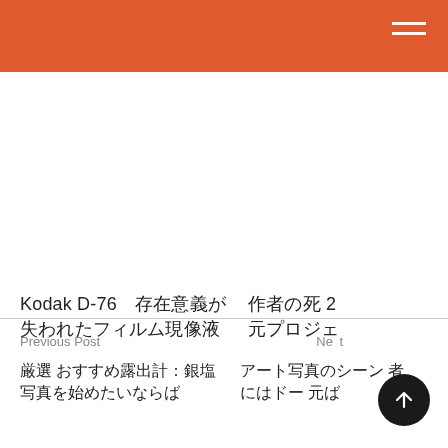Kodak D-76　存在意義が失われたフィルム現像液
作者の死 2 元プロジェ
Previous Post
Next
厳選 おすすめ露出計：銀塩写真を始めたいならば
アート写真のシーン 者にはドー 元ば